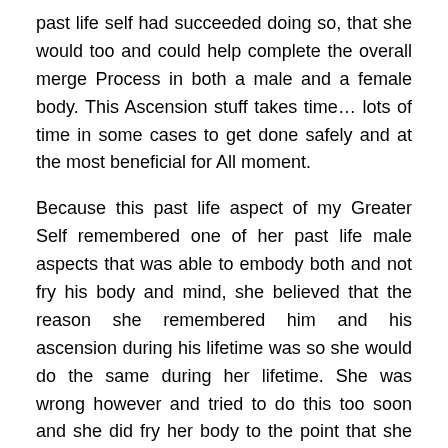past life self had succeeded doing so, that she would too and could help complete the overall merge Process in both a male and a female body. This Ascension stuff takes time… lots of time in some cases to get done safely and at the most beneficial for All moment.
Because this past life aspect of my Greater Self remembered one of her past life male aspects that was able to embody both and not fry his body and mind, she believed that the reason she remembered him and his ascension during his lifetime was so she would do the same during her lifetime. She was wrong however and tried to do this too soon and she did fry her body to the point that she eventually died because of it.
For me as Denise in this time living the Ascension Process bringing up the rear while simultaneously helping create